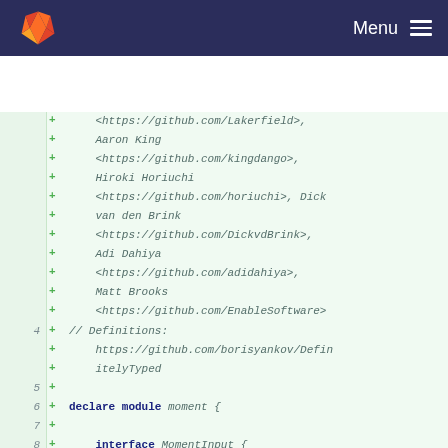GitLab — Menu
[Figure (screenshot): GitLab diff view showing TypeScript declaration file with added lines. Lines show contributor GitHub URLs (Lakerfield, kingdango, horiuchi, DickvdBrink, adidahiya, EnableSoftware), a Definitions comment pointing to borisyankov/DefinitelyTyped, then 'declare module moment {' and 'interface MomentInput {' with '/** Year */' and 'years?: number;']